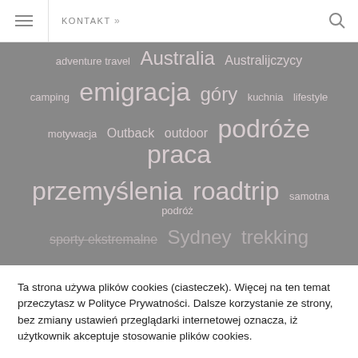KONTAKT »
[Figure (infographic): Tag cloud on grey background with Polish travel blog tags: adventure travel, Australia, Australijczycy, camping, emigracja, góry, kuchnia, lifestyle, motywacja, Outback, outdoor, podróże, praca, przemyślenia, roadtrip, samotna podróż, sporty ekstremalne, Sydney, trekking]
Ta strona używa plików cookies (ciasteczek). Więcej na ten temat przeczytasz w Polityce Prywatności. Dalsze korzystanie ze strony, bez zmiany ustawień przeglądarki internetowej oznacza, iż użytkownik akceptuje stosowanie plików cookies.
Akceptuję
Polityka Prywatności